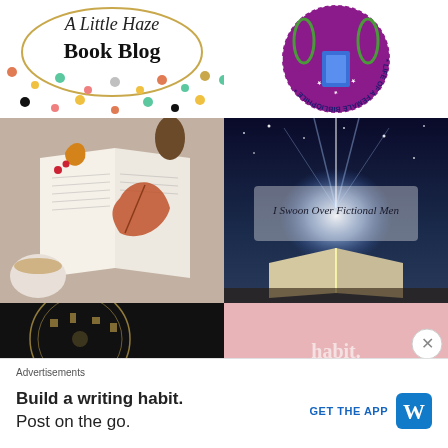[Figure (logo): A Little Haze Book Blog logo with oval outline and colorful dots]
[Figure (logo): Life of a Female Bibliophile circular badge logo with books and laurel wreath, upside down text]
[Figure (photo): Open book with autumn leaf and coffee cup on knitted blanket]
[Figure (photo): I Swoon Over Fictional Men - open book with magical glowing light against night sky]
[Figure (photo): Partial dark image with circular decorative pattern - bottom left]
[Figure (illustration): Partial pink/blush image - bottom right]
Advertisements
Build a writing habit. Post on the go.
GET THE APP